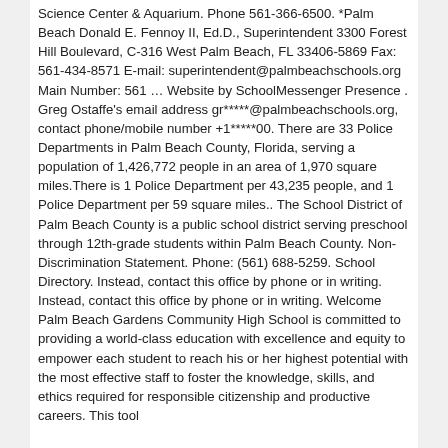Science Center & Aquarium. Phone 561-366-6500. *Palm Beach Donald E. Fennoy II, Ed.D., Superintendent 3300 Forest Hill Boulevard, C-316 West Palm Beach, FL 33406-5869 Fax: 561-434-8571 E-mail: superintendent@palmbeachschools.org Main Number: 561 … Website by SchoolMessenger Presence . Greg Ostaffe's email address gr*****@palmbeachschools.org, contact phone/mobile number +1*****00. There are 33 Police Departments in Palm Beach County, Florida, serving a population of 1,426,772 people in an area of 1,970 square miles.There is 1 Police Department per 43,235 people, and 1 Police Department per 59 square miles.. The School District of Palm Beach County is a public school district serving preschool through 12th-grade students within Palm Beach County. Non-Discrimination Statement. Phone: (561) 688-5259. School Directory. Instead, contact this office by phone or in writing. Instead, contact this office by phone or in writing. Welcome Palm Beach Gardens Community High School is committed to providing a world-class education with excellence and equity to empower each student to reach his or her highest potential with the most effective staff to foster the knowledge, skills, and ethics required for responsible citizenship and productive careers. This tool